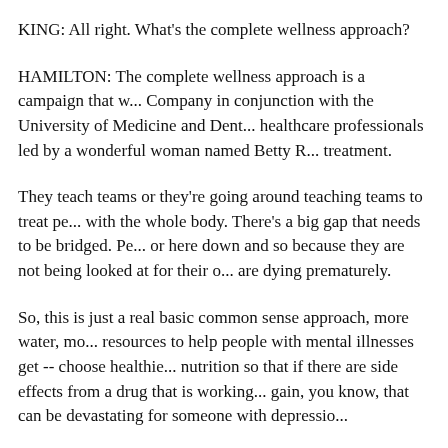KING: All right. What's the complete wellness approach?
HAMILTON: The complete wellness approach is a campaign that w... Company in conjunction with the University of Medicine and Dent... healthcare professionals led by a wonderful woman named Betty R... treatment.
They teach teams or they're going around teaching teams to treat pe... with the whole body. There's a big gap that needs to be bridged. Pe... or here down and so because they are not being looked at for their o... are dying prematurely.
So, this is just a real basic common sense approach, more water, mo... resources to help people with mental illnesses get -- choose healthie... nutrition so that if there are side effects from a drug that is working... gain, you know, that can be devastating for someone with depressio...